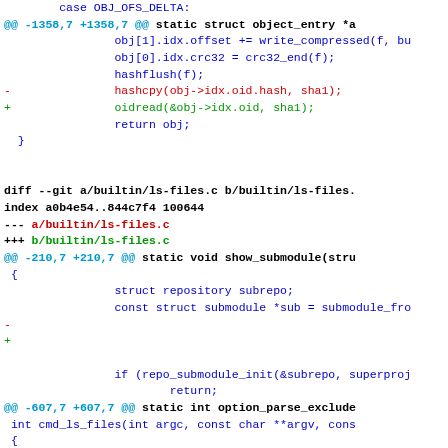Git diff code patch showing changes to pack-objects.c and ls-files.c